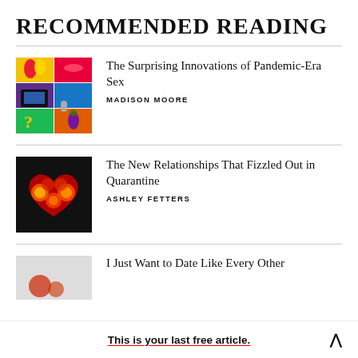RECOMMENDED READING
The Surprising Innovations of Pandemic-Era Sex
MADISON MOORE
The New Relationships That Fizzled Out in Quarantine
ASHLEY FETTERS
I Just Want to Date Like Every Other
This is your last free article.